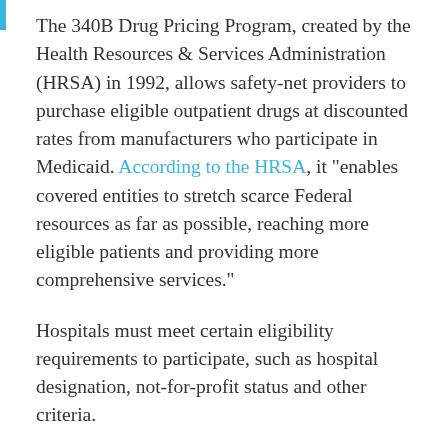The 340B Drug Pricing Program, created by the Health Resources & Services Administration (HRSA) in 1992, allows safety-net providers to purchase eligible outpatient drugs at discounted rates from manufacturers who participate in Medicaid. According to the HRSA, it "enables covered entities to stretch scarce Federal resources as far as possible, reaching more eligible patients and providing more comprehensive services."
Hospitals must meet certain eligibility requirements to participate, such as hospital designation, not-for-profit status and other criteria.
While 340B discounts only represent 2.8 percent of the total annual drug purchases made in the United States, the program has allowed many hospitals to provide